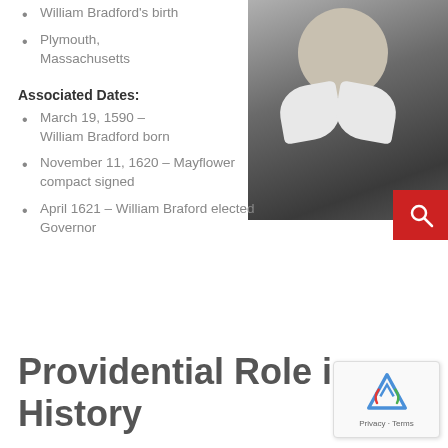William Bradford's birth
Plymouth, Massachusetts
[Figure (photo): Black and white portrait photograph of William Bradford, showing a man with a mustache and beard wearing a white collar, with a red search button overlay in the bottom right corner of the image.]
Associated Dates:
March 19, 1590 – William Bradford born
November 11, 1620 – Mayflower compact signed
April 1621 – William Braford elected Governor
Providential Role in History
[Figure (other): reCAPTCHA widget showing the Google reCAPTCHA logo and 'Privacy - Terms' text]